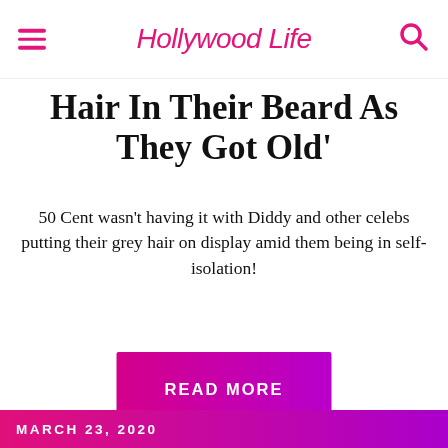HollywoodLife
Hair In Their Beard As They Got Old'
50 Cent wasn't having it with Diddy and other celebs putting their grey hair on display amid them being in self-isolation!
READ MORE
MARCH 23, 2020